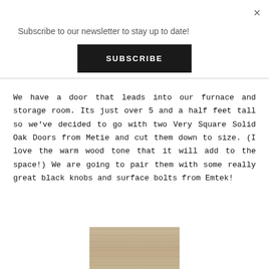Subscribe to our newsletter to stay up to date!
SUBSCRIBE
We have a door that leads into our furnace and storage room. Its just over 5 and a half feet tall so we've decided to go with two Very Square Solid Oak Doors from Metie and cut them down to size. (I love the warm wood tone that it will add to the space!) We are going to pair them with some really great black knobs and surface bolts from Emtek!
[Figure (photo): Wood texture / oak door surface showing horizontal grain pattern in a warm tan/beige tone]